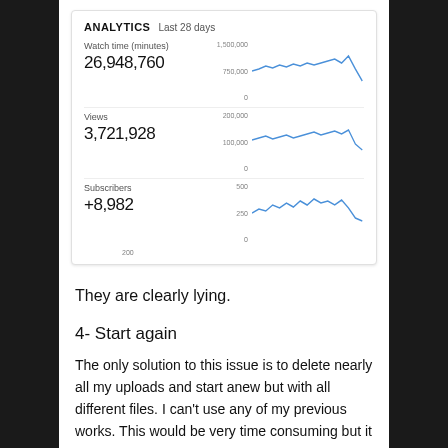[Figure (screenshot): YouTube Analytics dashboard screenshot showing Last 28 days stats: Watch time (minutes) 26,948,760; Views 3,721,928; Subscribers +8,982. Each metric has a small line chart to the right showing trends over the period.]
They are clearly lying.
4- Start again
The only solution to this issue is to delete nearly all my uploads and start anew but with all different files. I can't use any of my previous works. This would be very time consuming but it